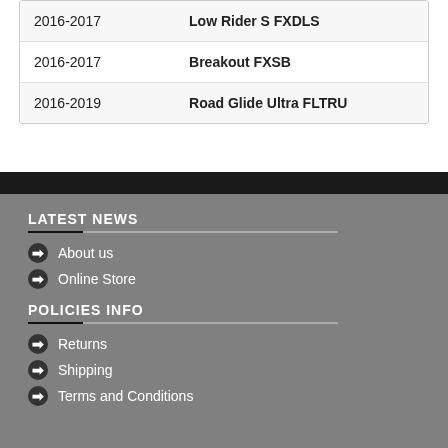| 2016-2017 | Low Rider S FXDLS |
| 2016-2017 | Breakout FXSB |
| 2016-2019 | Road Glide Ultra FLTRU |
LATEST NEWS
About us
Online Store
POLICIES INFO
Returns
Shipping
Terms and Conditions